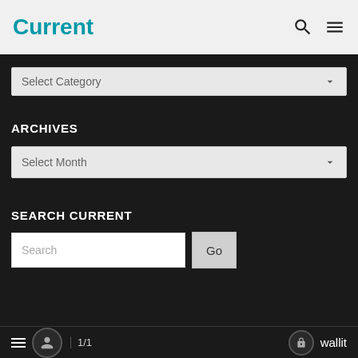Current
[Figure (screenshot): Select Category dropdown box with light gray background and chevron icon]
ARCHIVES
[Figure (screenshot): Select Month dropdown box with light gray background and chevron icon]
SEARCH CURRENT
[Figure (screenshot): Search input field with placeholder text 'Search' and a Go button]
1/1   wallit